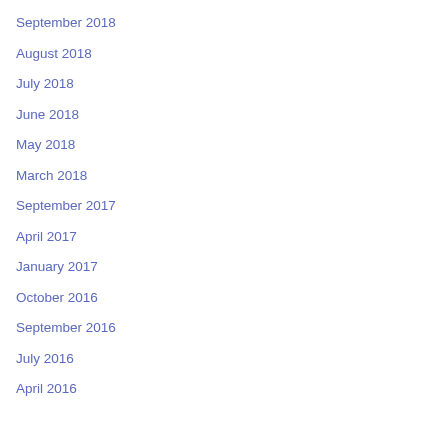September 2018
August 2018
July 2018
June 2018
May 2018
March 2018
September 2017
April 2017
January 2017
October 2016
September 2016
July 2016
April 2016